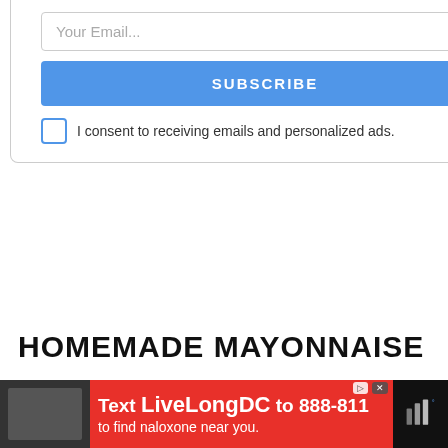[Figure (other): Email subscription form with input field, Subscribe button, and consent checkbox]
HOMEMADE MAYONNAISE
Mayonnaise has gone through some major changes in recent years. A variety of mayo products with various ingredients and flavors have popped up. Regardless of the type of mayo you choose, most of them are made with unhealthy sweeteners and starches. Making your own homemade mayo is incredibly easy.
[Figure (other): Advertisement banner: Text LiveLongDC to 888-811 to find naloxone near you.]